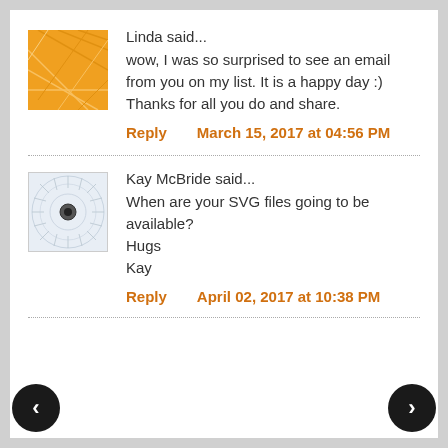Linda said...
wow, I was so surprised to see an email from you on my list. It is a happy day :) Thanks for all you do and share.
Reply   March 15, 2017 at 04:56 PM
Kay McBride said...
When are your SVG files going to be available?
Hugs
Kay
Reply   April 02, 2017 at 10:38 PM